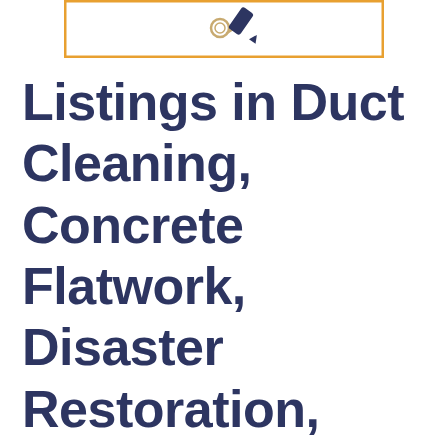[Figure (logo): Logo with orange border rectangle containing a graphic icon (key or tool shape in navy/blue and orange colors)]
Listings in Duct Cleaning, Concrete Flatwork, Disaster Restoration, Lighting Fixture Sales, Fences & Gates, Fireplace & Mantle, Kitchen